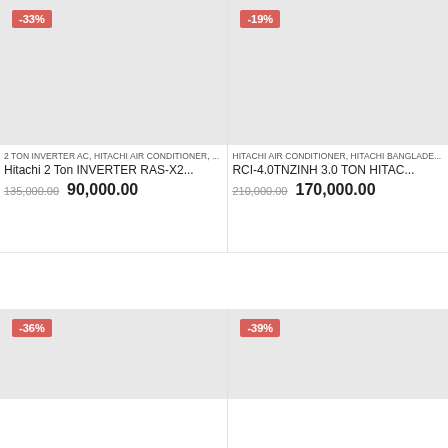[Figure (photo): Product image placeholder for Hitachi 2 Ton INVERTER RAS-X2 air conditioner with -33% discount badge]
[Figure (photo): Product image placeholder for RCI-4.0TNZINH 3.0 TON HITACHI air conditioner with -19% discount badge]
2 TON INVERTER AC, HITACHI AIR CONDITIONER, ...
HITACHI AIR CONDITIONER, HITACHI BANGLADE...
Hitachi 2 Ton INVERTER RAS-X2...
RCI-4.0TNZINH 3.0 TON HITAC...
135,000.00
90,000.00
210,000.00
170,000.00
[Figure (photo): Product image placeholder with -36% discount badge]
[Figure (photo): Product image placeholder with -39% discount badge]